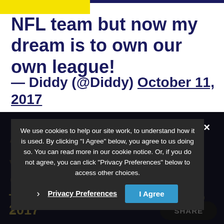NFL team but now my dream is to own our own league!
— Diddy (@Diddy) October 11, 2017
A league where you can be yourself and plan
— Diddy (@Diddy) October 11, 2017
We use cookies to help our site work, to understand how it is used. By clicking "I Agree" below, you agree to us doing so. You can read more in our cookie notice. Or, if you do not agree, you can click "Privacy Preferences" below to access other choices.